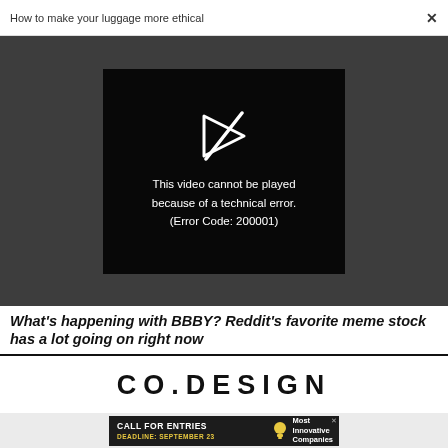How to make your luggage more ethical
[Figure (screenshot): Video player showing error message: 'This video cannot be played because of a technical error. (Error Code: 200001)' with a broken play button icon on dark background]
What's happening with BBBY? Reddit's favorite meme stock has a lot going on right now
[Figure (logo): CO.DESIGN logo in bold uppercase letters]
[Figure (infographic): Advertisement: CALL FOR ENTRIES — DEADLINE: SEPTEMBER 23 — Most Innovative Companies, with lightbulb icon]